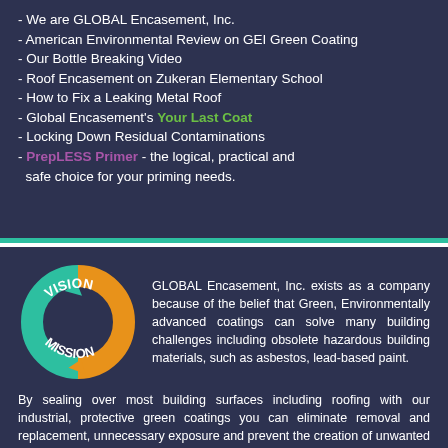- We are GLOBAL Encasement, Inc.
- American Environmental Review on GEI Green Coating
- Our Bottle Breaking Video
- Roof Encasement on Zukeran Elementary School
- How to Fix a Leaking Metal Roof
- Global Encasement's Your Last Coat
- Locking Down Residual Contaminations
- PrepLESS Primer - the logical, practical and safe choice for your priming needs.
[Figure (infographic): Circular arrow diagram with VISION on top in orange arc and MISSION on bottom in teal arc, with teal and orange arrows forming a cycle loop]
GLOBAL Encasement, Inc. exists as a company because of the belief that Green, Environmentally advanced coatings can solve many building challenges including obsolete hazardous building materials, such as asbestos, lead-based paint.
By sealing over most building surfaces including roofing with our industrial, protective green coatings you can eliminate removal and replacement, unnecessary exposure and prevent the creation of unwanted waste which helps protect people and the environment.